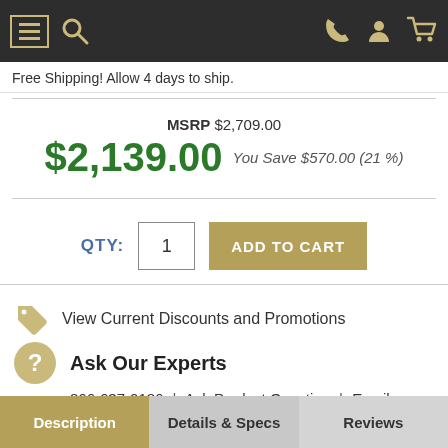Navigation bar with menu, search, phone, account, cart icons
Free Shipping! Allow 4 days to ship.
MSRP $2,709.00
$2,139.00  You Save $570.00 (21 %)
QTY: 1  ADD TO CART
View Current Discounts and Promotions
Ask Our Experts
866-637-0186 | Ask Product Question | Email
Description  Details & Specs  Reviews